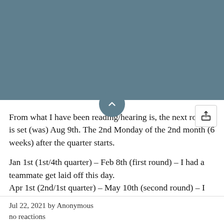From what I have been reading/hearing is, the next round is set (was) Aug 9th. The 2nd Monday of the 2nd month (6 weeks) after the quarter starts.
Jan 1st (1st/4th quarter) - Feb 8th (first round) - I had a teammate get laid off this day.
Apr 1st (2nd/1st quarter) - May 10th (second round) - I had another teammate get let go.
Jul 1st (3rd/2nd quarter) - Aug 9th (third round) - I might be next!!!
Jul 22, 2021 by Anonymous
no reactions